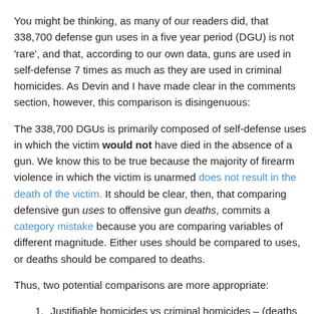You might be thinking, as many of our readers did, that 338,700 defense gun uses in a five year period (DGU) is not 'rare', and that, according to our own data, guns are used in self-defense 7 times as much as they are used in criminal homicides.  As Devin and I have made clear in the comments section, however, this comparison is disingenuous:
The 338,700 DGUs is primarily composed of self-defense uses in which the victim would not have died in the absence of a gun.  We know this to be true because the majority of firearm violence in which the victim is unarmed does not result in the death of the victim.   It should be clear, then, that comparing defensive gun uses to offensive gun deaths, commits a category mistake because you are comparing variables of different magnitude.  Either uses should be compared to uses, or deaths should be compared to deaths.
Thus, two potential comparisons are more appropriate:
Justifiable homicides vs criminal homicides – (deaths vs. deaths) the reason this is more accurate is that both result in a guaranteed death, and justifiable homicides function as a serviceable substitute for situations in which the death of the victim is more likely in the absence of a gun. In this case we have